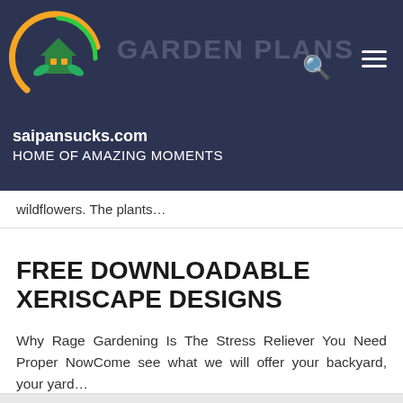[Figure (logo): Circular logo with house and leaves, orange and green colors on dark navy background]
GARDEN PLANS
saipansucks.com
HOME OF AMAZING MOMENTS
wildflowers. The plants…
FREE DOWNLOADABLE XERISCAPE DESIGNS
Why Rage Gardening Is The Stress Reliever You Need Proper NowCome see what we will offer your backyard, your yard…